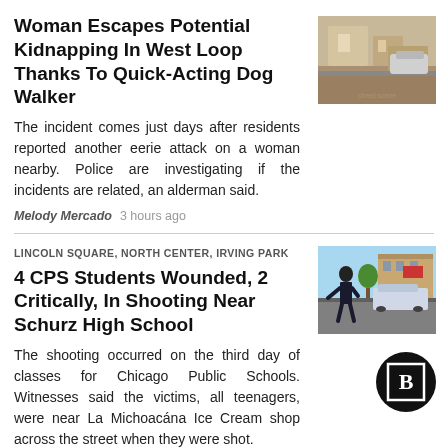Woman Escapes Potential Kidnapping In West Loop Thanks To Quick-Acting Dog Walker
The incident comes just days after residents reported another eerie attack on a woman nearby. Police are investigating if the incidents are related, an alderman said.
Melody Mercado   3 hours ago
[Figure (photo): Street scene showing a driveway or parking area in sunlight]
LINCOLN SQUARE, NORTH CENTER, IRVING PARK
4 CPS Students Wounded, 2 Critically, In Shooting Near Schurz High School
The shooting occurred on the third day of classes for Chicago Public Schools. Witnesses said the victims, all teenagers, were near La Michoacána Ice Cream shop across the street when they were shot.
Alex V. Hernandez   3:33 PM CDT
[Figure (photo): Police officer in tactical gear standing near a police vehicle on a sunny street]
[Figure (logo): Block Club Chicago logo — letter B in a square, black circle]